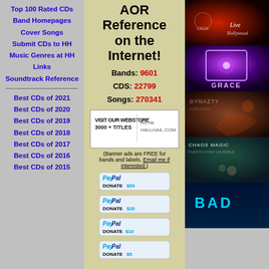Top 100 Rated CDs
Band Homepages
Cover Songs
Submit CDs to HH
Music Genres at HH
Links
Soundtrack Reference
Best CDs of 2021
Best CDs of 2020
Best CDs of 2019
Best CDs of 2018
Best CDs of 2017
Best CDs of 2016
Best CDs of 2015
AOR Reference on the Internet!
Bands: 9601 CDS: 22799 Songs: 270341
(Banner ads are FREE for bands and labels. Email me if interested.)
[Figure (other): Visit our webstore 3000+ titles banner ad]
[Figure (other): PayPal Donate $50 button]
[Figure (other): PayPal Donate $20 button]
[Figure (other): PayPal Donate $10 button]
[Figure (other): PayPal Donate $5 button]
[Figure (photo): Album cover - Live in Hollywood (red/dark)]
[Figure (photo): Album cover - Grace (purple)]
[Figure (photo): Album cover - Dynazty]
[Figure (photo): Album cover - Chaos Magic]
[Figure (photo): Album cover - BAD (partial)]